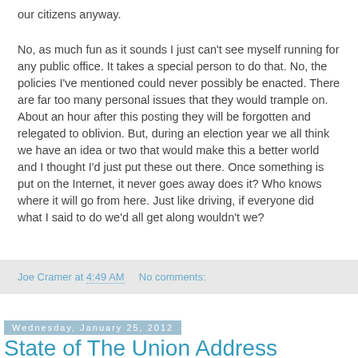our citizens anyway.
No, as much fun as it sounds I just can't see myself running for any public office. It takes a special person to do that. No, the policies I've mentioned could never possibly be enacted. There are far too many personal issues that they would trample on. About an hour after this posting they will be forgotten and relegated to oblivion. But, during an election year we all think we have an idea or two that would make this a better world and I thought I'd just put these out there. Once something is put on the Internet, it never goes away does it? Who knows where it will go from here. Just like driving, if everyone did what I said to do we'd all get along wouldn't we?
Joe Cramer at 4:49 AM   No comments:
Wednesday, January 25, 2012
State of The Union Address